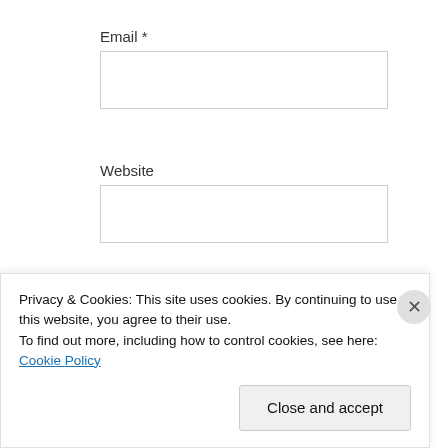Email *
[Figure (other): Empty email text input field with light gray border]
Website
[Figure (other): Empty website text input field with light gray border]
POST COMMENT
Notify me of new comments via
Privacy & Cookies: This site uses cookies. By continuing to use this website, you agree to their use.
To find out more, including how to control cookies, see here: Cookie Policy
Close and accept